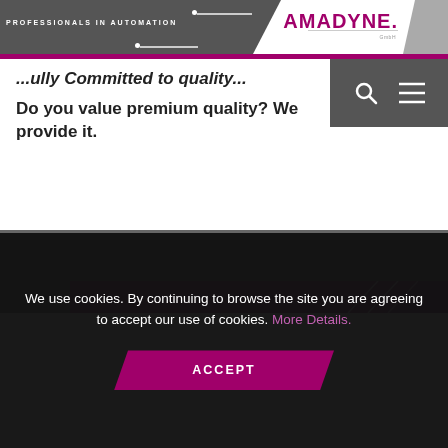PROFESSIONALS IN AUTOMATION — AMADYNE. GmbH
...ully Committed to quality...
Do you value premium quality? We provide it.
[Figure (photo): Gray and purple interior/ceiling photo partially visible]
We use cookies. By continuing to browse the site you are agreeing to accept our use of cookies. More Details.
ACCEPT